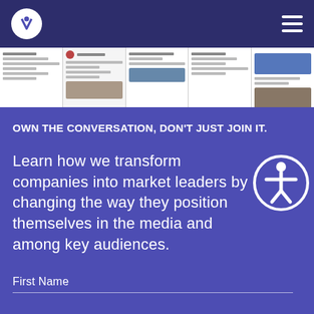[Figure (screenshot): Navigation bar with white circular logo on left and hamburger menu icon on right, dark navy blue background]
[Figure (screenshot): Strip of website/article screenshots showing various content pages with text and images]
OWN THE CONVERSATION, DON'T JUST JOIN IT.
Learn how we transform companies into market leaders by changing the way they position themselves in the media and among key audiences.
[Figure (illustration): Accessibility icon - circular badge with white person figure with arms outstretched, white circle border on purple background]
First Name